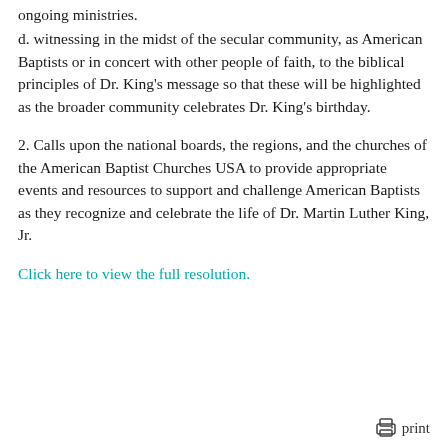ongoing ministries.
d. witnessing in the midst of the secular community, as American Baptists or in concert with other people of faith, to the biblical principles of Dr. King's message so that these will be highlighted as the broader community celebrates Dr. King's birthday.
2. Calls upon the national boards, the regions, and the churches of the American Baptist Churches USA to provide appropriate events and resources to support and challenge American Baptists as they recognize and celebrate the life of Dr. Martin Luther King, Jr.
Click here to view the full resolution.
print